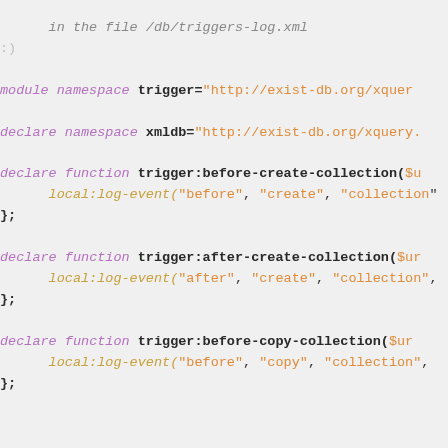in the file /db/triggers-log.xml
:)

module namespace trigger="http://exist-db.org/xquer

declare namespace xmldb="http://exist-db.org/xquery.

declare function trigger:before-create-collection($u
    local:log-event("before", "create", "collection"
};

declare function trigger:after-create-collection($ur
    local:log-event("after", "create", "collection",
};

declare function trigger:before-copy-collection($ur
    local:log-event("before", "copy", "collection",
};